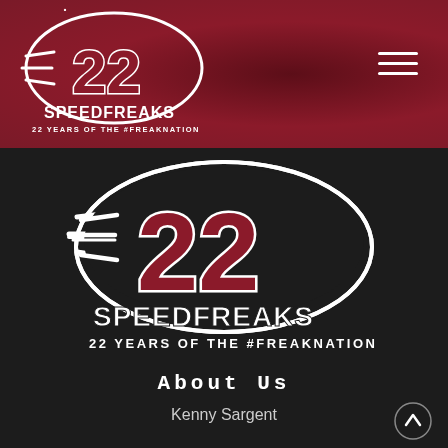22 SpeedFreaks — 22 YEARS OF THE #FREAKNATION (header navigation bar with logo and hamburger menu)
[Figure (logo): 22 SpeedFreaks logo — large stylized '22' with speed lines, text 'SPEEDFREAKS' below and '22 YEARS OF THE #FREAKNATION' subtitle, with '2000-2022' arc at top, dark background]
About Us
Kenny Sargent